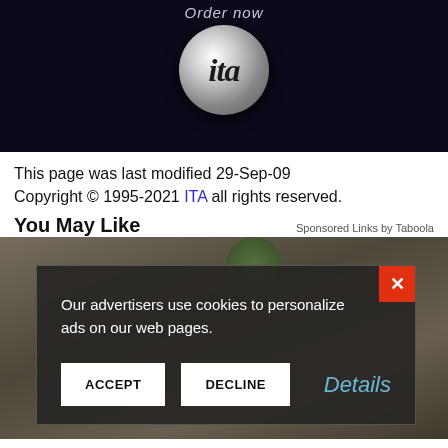[Figure (photo): Dark background with 'Order now' text and ITA logo ball (silver metallic sphere with italic 'ita' text)]
This page was last modified 29-Sep-09
Copyright © 1995-2021 ITA all rights reserved.
You May Like
Sponsored Links by Taboola
[Figure (screenshot): Cookie consent modal overlay on top of a blurred office/legal photo. Modal contains text: 'Our advertisers use cookies to personalize ads on our web pages.' with ACCEPT and DECLINE buttons and a Details link. Close button (X) in orange-red top right corner.]